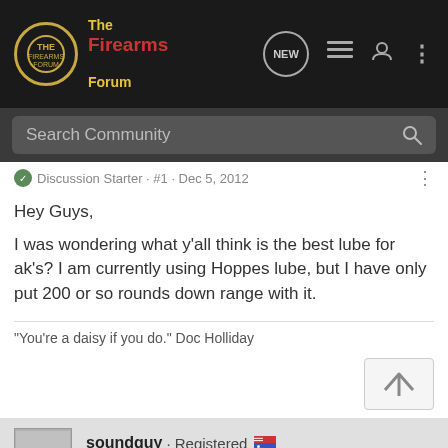The Firearms Forum
Search Community
Discussion Starter · #1 · Dec 5, 2012
Hey Guys,

I was wondering what y'all think is the best lube for ak's? I am currently using Hoppes lube, but I have only put 200 or so rounds down range with it.
"You're a daisy if you do." Doc Holliday
soundguy · Registered
Joined May 8, 2012 · 19,218 Posts